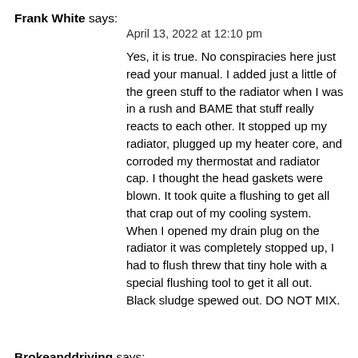Frank White says:
April 13, 2022 at 12:10 pm
Yes, it is true. No conspiracies here just read your manual. I added just a little of the green stuff to the radiator when I was in a rush and BAME that stuff really reacts to each other. It stopped up my radiator, plugged up my heater core, and corroded my thermostat and radiator cap. I thought the head gaskets were blown. It took quite a flushing to get all that crap out of my cooling system. When I opened my drain plug on the radiator it was completely stopped up, I had to flush threw that tiny hole with a special flushing tool to get it all out. Black sludge spewed out. DO NOT MIX.
Brokeanddriving says:
May 23, 2022 at 1:40 pm